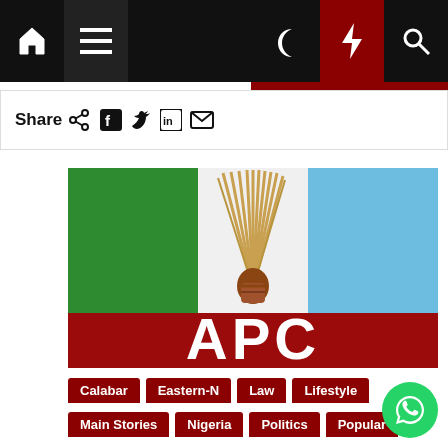Navigation bar with home, menu, moon, bolt, and search icons
Share
[Figure (logo): APC (All Progressives Congress) party logo: green and light blue rectangles with a broom held by a hand in the center, red banner at bottom with white text 'APC']
Calabar
Eastern-N
Law
Lifestyle
Main Stories
Nigeria
Politics
Popular